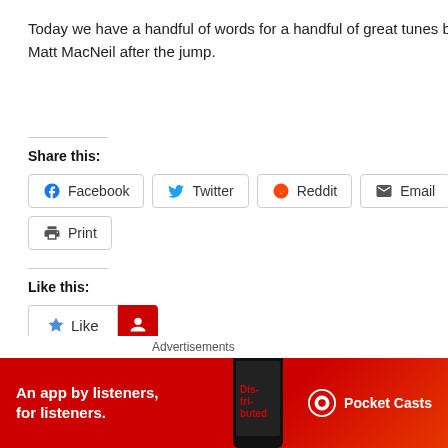Today we have a handful of words for a handful of great tunes by ANGER MGMT., Dropper, Driftwood, GOON and Matt MacNeil after the jump.
read more »
Share this:
Facebook
Twitter
Reddit
Email
Print
Like this:
One blogger likes this.
Advertisements
[Figure (screenshot): Pocket Casts advertisement banner: red background with text 'An app by listeners, for listeners.' and Pocket Casts logo with phone graphic]
MAY 15, 2
Play
& Ga